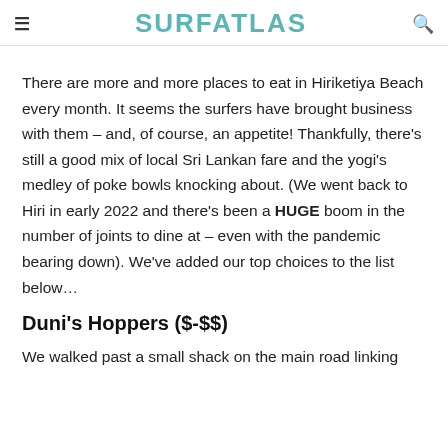≡  SURFATLAS  🔍
There are more and more places to eat in Hiriketiya Beach every month. It seems the surfers have brought business with them – and, of course, an appetite! Thankfully, there's still a good mix of local Sri Lankan fare and the yogi's medley of poke bowls knocking about. (We went back to Hiri in early 2022 and there's been a HUGE boom in the number of joints to dine at – even with the pandemic bearing down). We've added our top choices to the list below…
Duni's Hoppers ($-$$)
We walked past a small shack on the main road linking